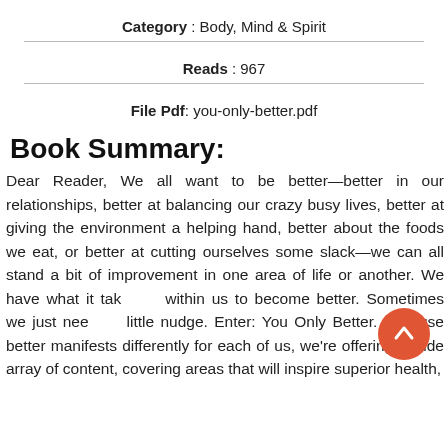Category : Body, Mind & Spirit
Reads : 967
File Pdf: you-only-better.pdf
Book Summary:
Dear Reader, We all want to be better—better in our relationships, better at balancing our crazy busy lives, better at giving the environment a helping hand, better about the foods we eat, or better at cutting ourselves some slack—we can all stand a bit of improvement in one area of life or another. We have what it takes within us to become better. Sometimes we just need a little nudge. Enter: You Only Better. Because better manifests differently for each of us, we're offering a wide array of content, covering areas that will inspire superior health,